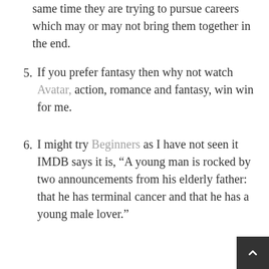(partial/continuation) same time they are trying to pursue careers which may or may not bring them together in the end.
5. If you prefer fantasy then why not watch Avatar, action, romance and fantasy, win win for me.
6. I might try Beginners as I have not seen it IMDB says it is, “A young man is rocked by two announcements from his elderly father: that he has terminal cancer and that he has a young male lover.”
7. The Guernsey Literary and Potato Peel Pie Society. A romantic historical film based around a writer Juliet who is trying to document the lives of the Guernsey residents but sharing their experiences of Nazi-occupied Guernsey Island.